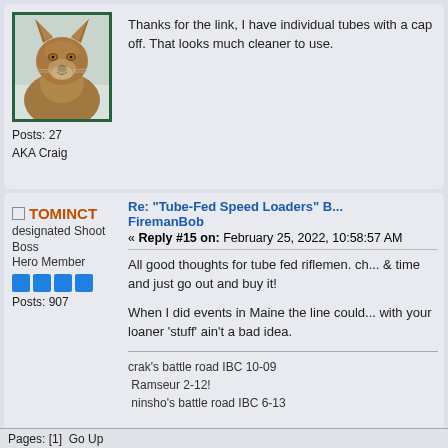[Figure (photo): Avatar photo of a coyote facing forward against a snowy background, with dark green border]
Posts: 27
AKA Craig
Thanks for the link, I have individual tubes with a cap off. That looks much cleaner to use.
TOMINCT
designated Shoot Boss
Hero Member
Posts: 907
Re: "Tube-Fed Speed Loaders" B... FiremanBob
« Reply #15 on: February 25, 2022, 10:58:57 AM
All good thoughts for tube fed riflemen. ch... & time and just go out and buy it!
When I did events in Maine the line could... with your loaner 'stuff' ain't a bad idea.
crak's battle road IBC 10-09
Ramseur 2-12!
ninsho's battle road IBC 6-13
Pages: [1]  Go Up